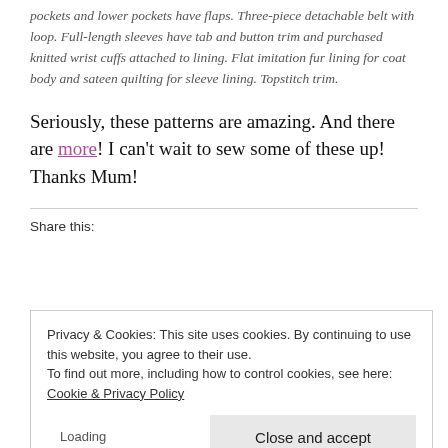pockets and lower pockets have flaps. Three-piece detachable belt with loop. Full-length sleeves have tab and button trim and purchased knitted wrist cuffs attached to lining. Flat imitation fur lining for coat body and sateen quilting for sleeve lining. Topstitch trim.
Seriously, these patterns are amazing. And there are more! I can’t wait to sew some of these up! Thanks Mum!
Share this:
Privacy & Cookies: This site uses cookies. By continuing to use this website, you agree to their use.
To find out more, including how to control cookies, see here:
Cookie & Privacy Policy
Close and accept
Loading